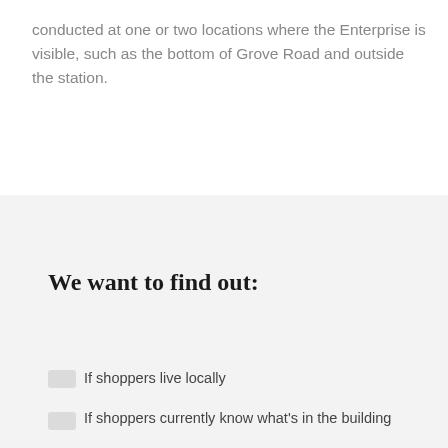conducted at one or two locations where the Enterprise is visible, such as the bottom of Grove Road and outside the station.
We want to find out:
If shoppers live locally
If shoppers currently know what's in the building
If they shop locally
If shoppers currently know what's in the